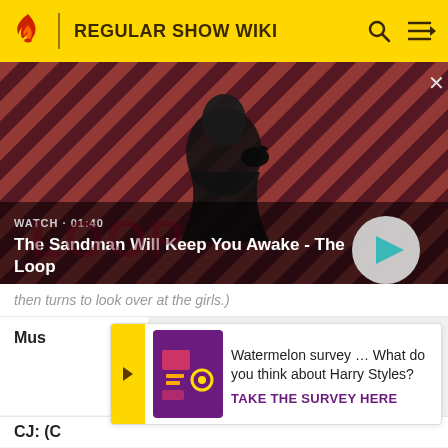REGULAR SHOW WIKI
[Figure (screenshot): Video thumbnail showing a dark-clad figure with a raven on their shoulder against a red diagonal striped background. Text overlay: WATCH · 01:40 and title The Sandman Will Keep You Awake - The Loop. Play button visible on right.]
then turns to look over at the girls.)
Mus
Watermelon survey … What do you think about Harry Styles?
TAKE THE SURVEY HERE
CJ: (C